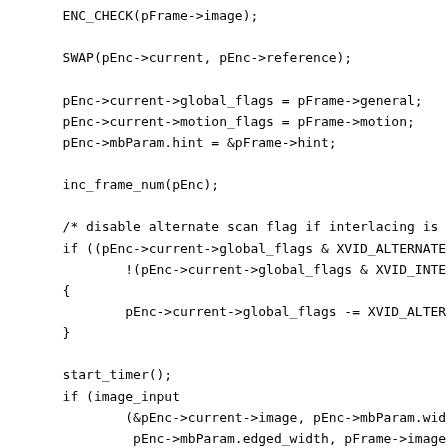ENC_CHECK(pFrame->image);

SWAP(pEnc->current, pEnc->reference);

pEnc->current->global_flags = pFrame->general;
pEnc->current->motion_flags = pFrame->motion;
pEnc->mbParam.hint = &pFrame->hint;

inc_frame_num(pEnc);

/* disable alternate scan flag if interlacing is
if ((pEnc->current->global_flags & XVID_ALTERNATE
        !(pEnc->current->global_flags & XVID_INTE
{
        pEnc->current->global_flags -= XVID_ALTER
}

start_timer();
if (image_input
        (&pEnc->current->image, pEnc->mbParam.wid
         pEnc->mbParam.edged_width, pFrame->image
         return XVID_ERR_FORMAT;
stop_conv_timer();

#ifdef _DEBUG_PSNR
        image_copy(&pEnc->sOriginal, &pEnc->current->imag
                        pEnc->mbParam.edged_width, pEn
#endif

        emms();